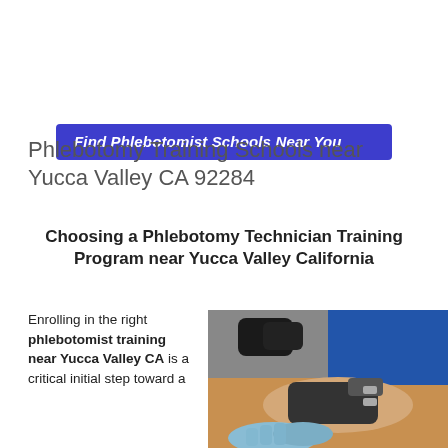[Figure (other): Blue banner with italic bold white text: Find Phlebotomist Schools Near You]
Phlebotomy Training Schools near Yucca Valley CA 92284
Choosing a Phlebotomy Technician Training Program near Yucca Valley California
Enrolling in the right phlebotomist training near Yucca Valley CA is a critical initial step toward a
[Figure (photo): Photo of a medical professional in blue gloves performing phlebotomy on a patient's arm, with a blood pressure cuff visible]